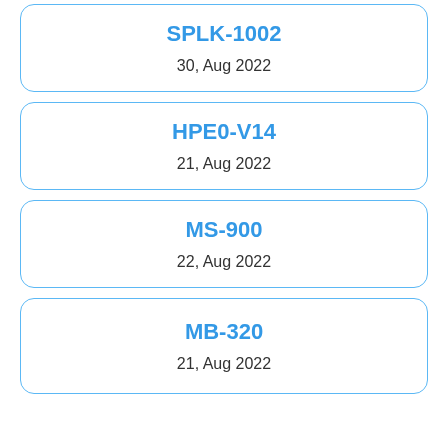SPLK-1002
30, Aug 2022
HPE0-V14
21, Aug 2022
MS-900
22, Aug 2022
MB-320
21, Aug 2022